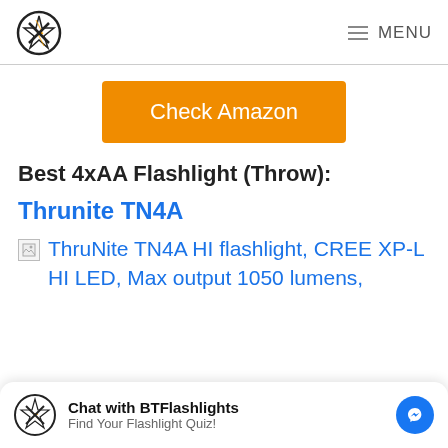BTFlashlights logo | MENU
Check Amazon
Best 4xAA Flashlight (Throw):
Thrunite TN4A
ThruNite TN4A HI flashlight, CREE XP-L HI LED, Max output 1050 lumens,
Chat with BTFlashlights
Find Your Flashlight Quiz!